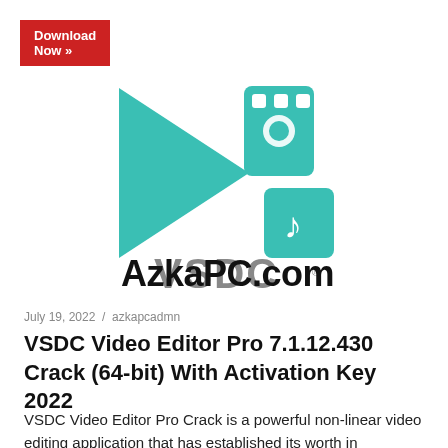[Figure (logo): Red 'Download Now »' button in top-left corner]
[Figure (logo): VSDC Video Editor logo with teal play button triangle, film strip icon, music note icon, and VSDC text with registered trademark symbol. Overlaid with AzkaPC.com watermark text.]
July 19, 2022 / azkapcadmn
VSDC Video Editor Pro 7.1.12.430 Crack (64-bit) With Activation Key 2022
VSDC Video Editor Pro Crack is a powerful non-linear video editing application that has established its worth in